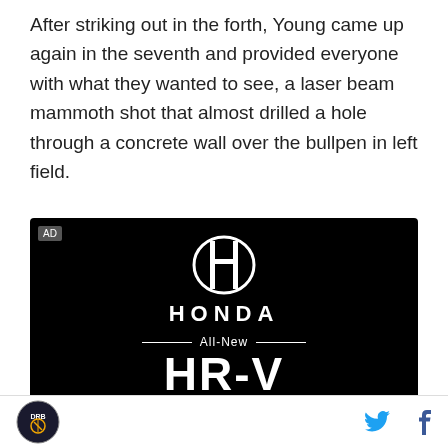After striking out in the forth, Young came up again in the seventh and provided everyone with what they wanted to see, a laser beam mammoth shot that almost drilled a hole through a concrete wall over the bullpen in left field.
[Figure (advertisement): Honda HR-V advertisement on black background showing Honda logo, 'All-New HR-V', and 'Powered by determination' text]
DRB logo | Twitter icon | Facebook icon